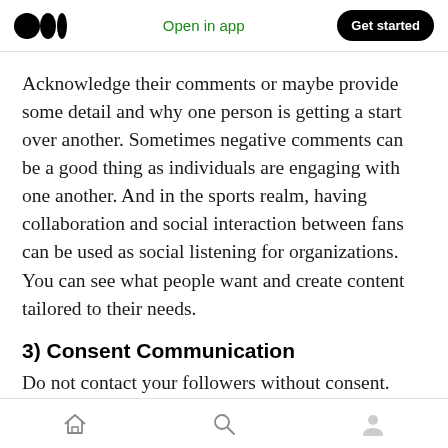Open in app | Get started
Acknowledge their comments or maybe provide some detail and why one person is getting a start over another. Sometimes negative comments can be a good thing as individuals are engaging with one another. And in the sports realm, having collaboration and social interaction between fans can be used as social listening for organizations. You can see what people want and create content tailored to their needs.
3) Consent Communication
Do not contact your followers without consent.
Home | Search | Profile